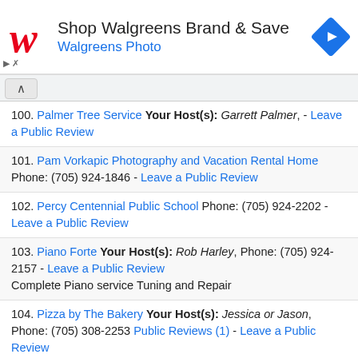[Figure (advertisement): Walgreens ad banner: red cursive W logo, text 'Shop Walgreens Brand & Save' and 'Walgreens Photo', blue diamond arrow icon, play and close controls]
100. Palmer Tree Service Your Host(s): Garrett Palmer, - Leave a Public Review
101. Pam Vorkapic Photography and Vacation Rental Home Phone: (705) 924-1846 - Leave a Public Review
102. Percy Centennial Public School Phone: (705) 924-2202 - Leave a Public Review
103. Piano Forte Your Host(s): Rob Harley, Phone: (705) 924-2157 - Leave a Public Review Complete Piano service Tuning and Repair
104. Pizza by The Bakery Your Host(s): Jessica or Jason, Phone: (705) 308-2253 Public Reviews (1) - Leave a Public Review
105. Quinte Funeral Centre Walas Funeral Home Warkworth Phone: (705) 924-2312 - Leave a Public Review